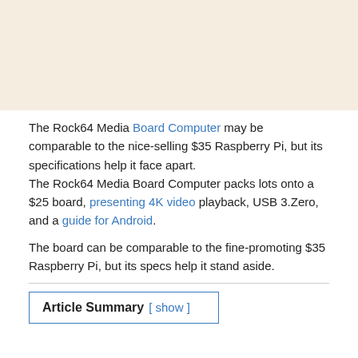[Figure (other): Beige/cream colored banner area at top of page]
The Rock64 Media Board Computer may be comparable to the nice-selling $35 Raspberry Pi, but its specifications help it face apart.
The Rock64 Media Board Computer packs lots onto a $25 board, presenting 4K video playback, USB 3.Zero, and a guide for Android.
The board can be comparable to the fine-promoting $35 Raspberry Pi, but its specs help it stand aside.
Article Summary  [ show ]